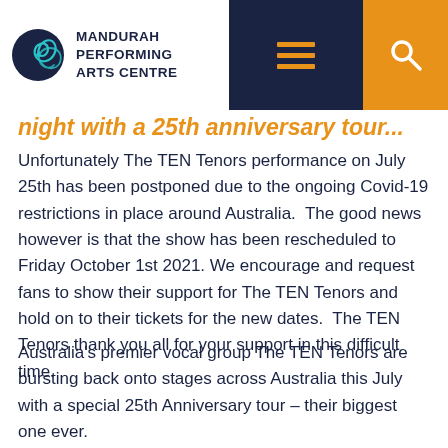MANDURAH PERFORMING ARTS CENTRE
night with a 25th anniversary tour...
Unfortunately The TEN Tenors performance on July 25th has been postponed due to the ongoing Covid-19 restrictions in place around Australia. The good news however is that the show has been rescheduled to Friday October 1st 2021. We encourage and request fans to show their support for The TEN Tenors and hold on to their tickets for the new dates. The TEN Tenors thank you all for your support in this difficult time.
Australia's premier vocal group The TEN Tenors are bursting back onto stages across Australia this July with a special 25th Anniversary tour – their biggest one ever.